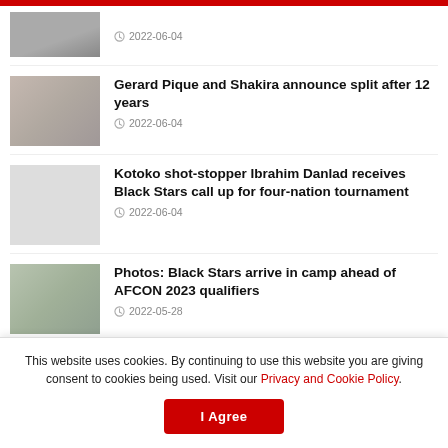2022-06-04 (partial top item)
Gerard Pique and Shakira announce split after 12 years — 2022-06-04
Kotoko shot-stopper Ibrahim Danlad receives Black Stars call up for four-nation tournament — 2022-06-04
Photos: Black Stars arrive in camp ahead of AFCON 2023 qualifiers — 2022-05-28
Alfred Duncan retires from Black Stars at age of 29
This website uses cookies. By continuing to use this website you are giving consent to cookies being used. Visit our Privacy and Cookie Policy.